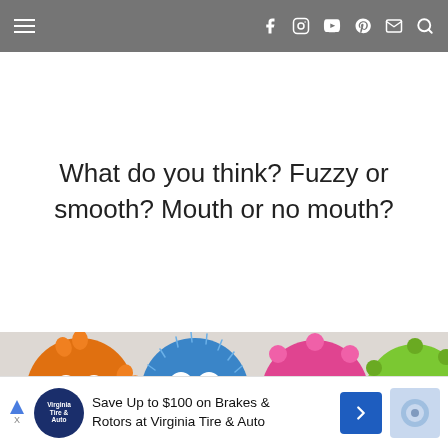Navigation bar with hamburger menu and social icons
What do you think? Fuzzy or smooth? Mouth or no mouth?
[Figure (photo): Four monster-decorated round cookies/cupcakes in a row: orange with spiky edges and googly eyes, blue with fuzzy coconut texture and googly eyes and a mouth, pink with scalloped edges and googly eyes, and green with scalloped edges and googly eyes. Colorful monster cookies on a light surface.]
[Figure (screenshot): Advertisement banner: Save Up to $100 on Brakes & Rotors at Virginia Tire & Auto]